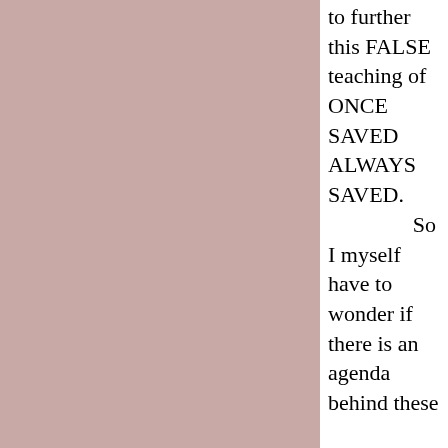to further this FALSE teaching of ONCE SAVED ALWAYS SAVED. So I myself have to wonder if there is an agenda behind these